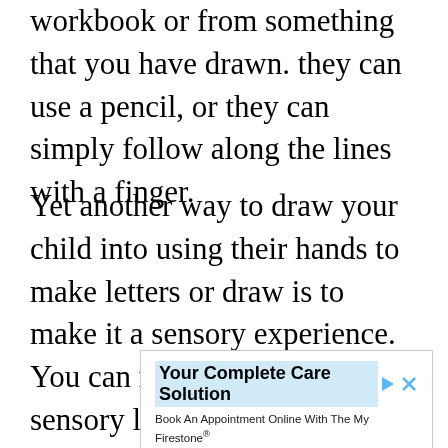workbook or from something that you have drawn. they can use a pencil, or they can simply follow along the lines with a finger.
Yet another way to draw your child into using their hands to make letters or draw is to make it a sensory experience. You can make or purchase sensory letters that are formed with sand. The area on the card is smooth but the letter itself is roughened by sand. Your child can trace his finger along the letter and feel where the sand is and it
[Figure (other): Advertisement banner for Firestone 'Your Complete Care Solution'. Contains title 'Your Complete Care Solution', body text 'Book An Appointment Online With The My Firestone® App To Get Your Complete Service.', brand name 'Firestone', and a blue 'Download' button. Has play and close icons in top right.]